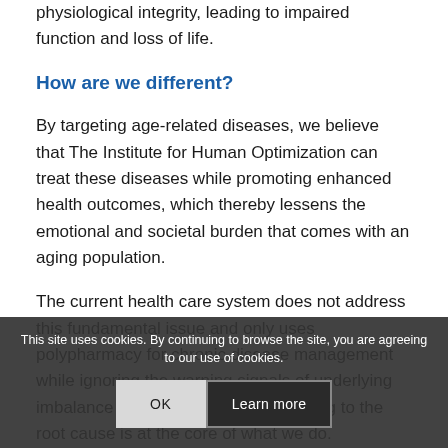physiological integrity, leading to impaired function and loss of life.
How are we different?
By targeting age-related diseases, we believe that The Institute for Human Optimization can treat these diseases while promoting enhanced health outcomes, which thereby lessens the emotional and societal burden that comes with an aging population.
The current health care system does not address this fundamental issue and only uses polypharmacy for chronic disease management while ignoring the warning signals of underlying imbalance in the body's system. Getting to the root cause is at the core of what we do.
This site uses cookies. By continuing to browse the site, you are agreeing to our use of cookies.